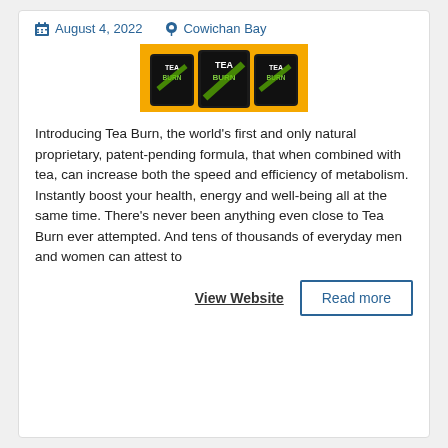August 4, 2022   Cowichan Bay
[Figure (photo): Product image of Tea Burn packages — three dark pouches labeled TEA BURN on a yellow/orange background]
Introducing Tea Burn, the world's first and only natural proprietary, patent-pending formula, that when combined with tea, can increase both the speed and efficiency of metabolism. Instantly boost your health, energy and well-being all at the same time. There's never been anything even close to Tea Burn ever attempted. And tens of thousands of everyday men and women can attest to
View Website
Read more